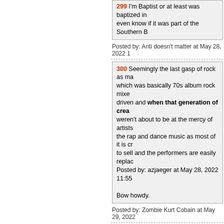299 I'm Baptist or at least was baptized in... even know if it was part of the Southern B...
Posted by: Anti doesn't matter at May 28, 2022 1...
300 Seemingly the last gasp of rock as ma... which was basically 70s album rock mixe... driven and when that generation of crea... weren't about to be at the mercy of artists... the rap and dance music as most of it is cr... to sell and the performers are easily replac... Posted by: azjaeger at May 28, 2022 11:55... Bow howdy.
Posted by: Zombie Kurt Cobain at May 29, 2022...
301 Stravinsky's "The Rites of Spring" wa... goers rioted. Nicolai Slonimsky (assistant conductor to... being played by a clarinet in B flat. No one noticed but Nicolai.
Posted by: gourmand du jour at May 29, 2022 12...